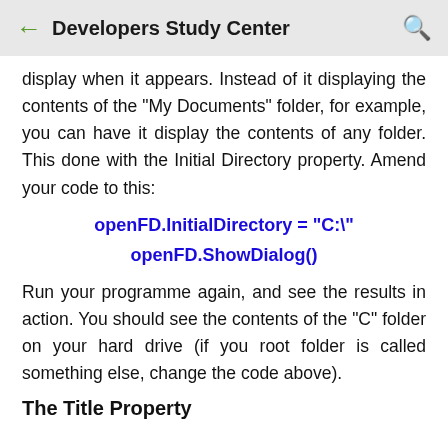← Developers Study Center 🔍
display when it appears. Instead of it displaying the contents of the "My Documents" folder, for example, you can have it display the contents of any folder. This done with the Initial Directory property. Amend your code to this:
Run your programme again, and see the results in action. You should see the contents of the "C" folder on your hard drive (if you root folder is called something else, change the code above).
The Title Property